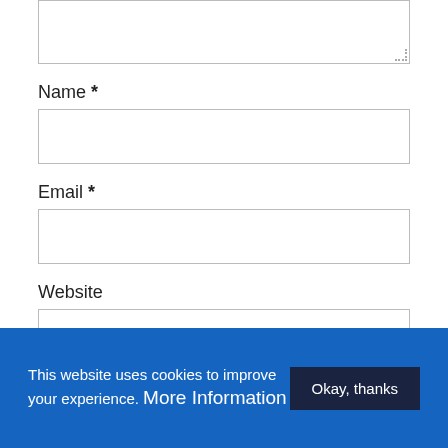[Figure (screenshot): Top portion of a web form showing a resizable textarea input field (partially visible, cropped at top)]
Name *
[Figure (screenshot): Name input field - empty text input box]
Email *
[Figure (screenshot): Email input field - empty text input box]
Website
[Figure (screenshot): Website input field - empty text input box]
[Figure (screenshot): Partially visible blue submit button at bottom of form]
This website uses cookies to improve your experience. More Information
Okay, thanks